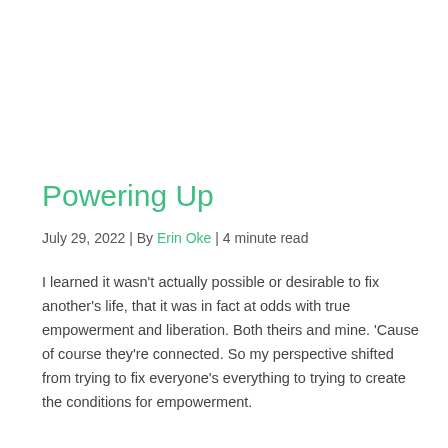Powering Up
July 29, 2022 | By Erin Oke | 4 minute read
I learned it wasn't actually possible or desirable to fix another's life, that it was in fact at odds with true empowerment and liberation. Both theirs and mine. 'Cause of course they're connected. So my perspective shifted from trying to fix everyone's everything to trying to create the conditions for empowerment.